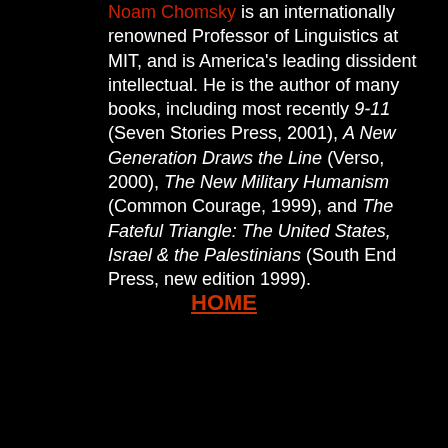Noam Chomsky is an internationally renowned Professor of Linguistics at MIT, and is America's leading dissident intellectual. He is the author of many books, including most recently 9-11 (Seven Stories Press, 2001), A New Generation Draws the Line (Verso, 2000), The New Military Humanism (Common Courage, 1999), and The Fateful Triangle: The United States, Israel & the Palestinians (South End Press, new edition 1999).
HOME